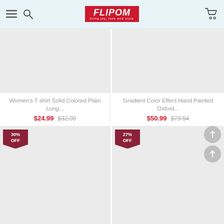FLIPOM — bring joy, love and style
[Figure (photo): Product image placeholder for Women's T shirt Solid Colored Plain Long...]
Women's T shirt Solid Colored Plain Long...
$24.99  $32.99
[Figure (photo): Product image placeholder for Gradient Color Effect Hand Painted Oxford...]
Gradient Color Effect Hand Painted Oxford...
$50.99  $79.54
[Figure (photo): Product image placeholder — 30% OFF badge]
[Figure (photo): Product image placeholder — 27% OFF badge]